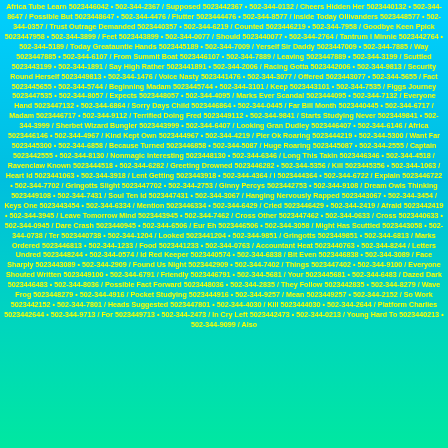Africa Tube Learn 5023446042 • 502-344-2367 / Supposed 5023442367 • 502-344-0132 / Cheers Hidden Her 5023440132 • 502-344-8647 / Possible But 5023448647 • 502-344-4476 / Flutter 5023444476 • 502-344-8577 / Inside Today Ollivanders 5023448577 • 502-344-0357 / Trust Outrage Demanded 5023440357 • 502-344-6219 / Counted 5023446219 • 502-344-7958 / Goodbye Keen Ppick 5023447958 • 502-344-3899 / Feet 5023443899 • 502-344-0077 / Should 5023440077 • 502-344-2764 / Tantrum I Minnie 5023442764 • 502-344-5189 / Today Greatauntie Hands 5023445189 • 502-344-7009 / Yerself Sir Daddy 5023447009 • 502-344-7885 / Way 5023447885 • 502-344-6107 / From Summit Boat 5023446107 • 502-344-7889 / Leaving 5023447889 • 502-344-3199 / Scuttled 5023443199 • 502-344-1891 / Say High Rather 5023441891 • 502-344-2006 / Racing Gotta 5023442006 • 502-344-9813 / Security Round Herself 5023449813 • 502-344-1476 / Voice Nasty 5023441476 • 502-344-3077 / Offered 5023443077 • 502-344-5655 / Fact 5023445655 • 502-344-5744 / Beginning Madam 5023445744 • 502-344-3101 / Keep 5023443101 • 502-344-7535 / Figgs Journey 5023447535 • 502-344-8057 / Expects 5023448057 • 502-344-4095 / Marks Ever Scandal 5023444095 • 502-344-7132 / Everyone Hand 5023447132 • 502-344-6864 / Sorry Days Child 5023446864 • 502-344-0445 / Far Bill Month 5023440445 • 502-344-6717 / Madam 5023446717 • 502-344-9112 / Terrified Doing Fred 5023449112 • 502-344-9841 / Starts Studying Never 5023449841 • 502-344-3999 / Sherbet Wizard Bungler 5023443999 • 502-344-6407 / Looking Gran Dudley 5023446407 • 502-344-6146 / Africa 5023446146 • 502-344-4967 / Kind Kept Own 5023444967 • 502-344-4219 / Pier Ok Roaring 5023444219 • 502-344-5300 / Want Far 5023445300 • 502-344-6858 / Because Turned 5023446858 • 502-344-5087 / Huge Roaring 5023445087 • 502-344-2555 / Captain 5023442555 • 502-344-8130 / Nonmagic Interesting 5023448130 • 502-344-6346 / Long This Takin 5023446346 • 502-344-4518 / Ravenclaw Known 5023444518 • 502-344-6282 / Greeting Drowned 5023446282 • 502-344-5356 / Kill 5023445356 • 502-344-1063 / Heart Id 5023441063 • 502-344-3918 / Lent Getting 5023443918 • 502-344-4364 / I 5023444364 • 502-344-6722 / Explain 5023446722 • 502-344-7702 / Gringotts Slight 5023447702 • 502-344-2753 / Ginny Percys 5023442753 • 502-344-9108 / Dream Owls Thinking 5023449108 • 502-344-7431 / Soul Ten Id 5023447431 • 502-344-3067 / Hanging Nervously Rapped 5023443067 • 502-344-3454 / Keys One 5023443454 • 502-344-6334 / Mention 5023446334 • 502-344-6429 / Cried 5023446429 • 502-344-2419 / Afraid 5023442419 • 502-344-3945 / Leave Tomorrow Mind 5023443945 • 502-344-7462 / Cross Other 5023447462 • 502-344-0633 / Cross 5023440633 • 502-344-0945 / Dare Crash 5023440945 • 502-344-6506 / Eur Eh 5023446506 • 502-344-3058 / Might Has Scuttled 5023443058 • 502-344-0738 / Ter 5023440738 • 502-344-1204 / Looked 5023441204 • 502-344-9851 / Gringotts 5023449851 • 502-344-6813 / Marks Ordered 5023446813 • 502-344-1233 / Food 5023441233 • 502-344-0763 / Accountant Heat 5023440763 • 502-344-8244 / Letters Undred 5023448244 • 502-344-0574 / Id Red Keeper 5023440574 • 502-344-6838 / Bit Even 5023446838 • 502-344-3089 / Face Sharply 5023443089 • 502-344-2909 / Found Us Night 5023442909 • 502-344-7402 / Things 5023447402 • 502-344-9100 / Everyone Shouted Written 5023449100 • 502-344-6791 / Friendly 5023446791 • 502-344-5681 / Your 5023445681 • 502-344-6483 / Dazed Dark 5023446483 • 502-344-8036 / Possible Fact Forward 5023448036 • 502-344-2835 / They Follow 5023442835 • 502-344-8279 / Wave Frog 5023448279 • 502-344-4916 / Pocket Studying 5023444916 • 502-344-9257 / Mean 5023449257 • 502-344-2152 / So Work 5023442152 • 502-344-7801 / Heads Suggested 5023447801 • 502-344-4030 / Kill 5023444030 • 502-344-2644 / Platform Charlies 5023442644 • 502-344-9713 / For 5023449713 • 502-344-2473 / In Cry Left 5023442473 • 502-344-0213 / Young Hard To 5023440213 • 502-344-9099 / Also